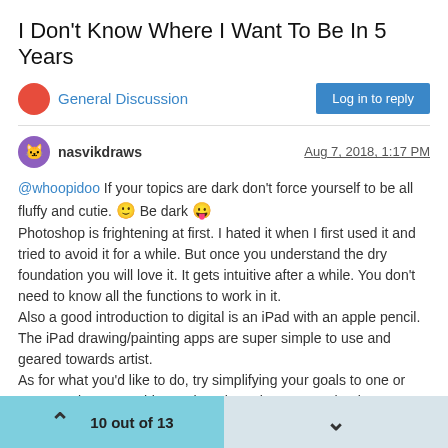I Don't Know Where I Want To Be In 5 Years
General Discussion
nasvikdraws   Aug 7, 2018, 1:17 PM
@whoopidoo If your topics are dark don't force yourself to be all fluffy and cutie. 🙂 Be dark 😛
Photoshop is frightening at first. I hated it when I first used it and tried to avoid it for a while. But once you understand the dry foundation you will love it. It gets intuitive after a while. You don't need to know all the functions to work in it.
Also a good introduction to digital is an iPad with an apple pencil. The iPad drawing/painting apps are super simple to use and geared towards artist.
As for what you'd like to do, try simplifying your goals to one or two most important things. The others that are not that important will just take away time from your main goals. But I am struggling with the same thing of not knowing where to go. 🙂
Good luck
10 out of 13